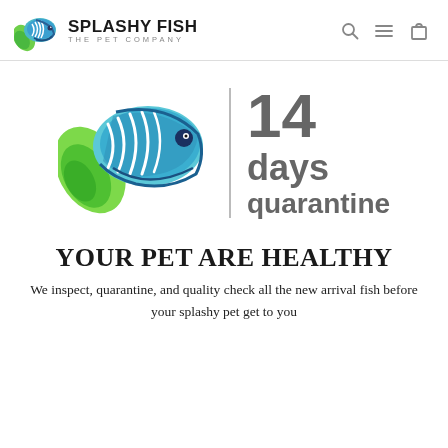SPLASHY FISH THE PET COMPANY
[Figure (logo): Splashy Fish logo with fish illustration and text '14 days quarantine']
YOUR PET ARE HEALTHY
We inspect, quarantine, and quality check all the new arrival fish before your splashy pet get to you